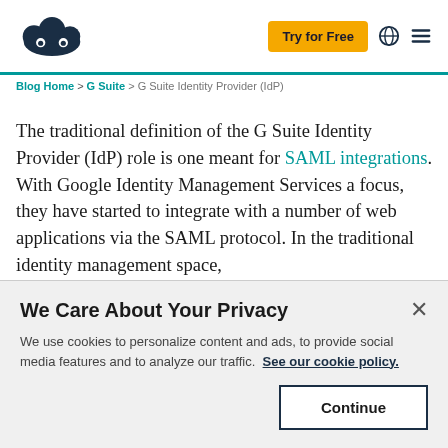Try for Free [globe] [menu]
Blog Home > G Suite > G Suite Identity Provider (IdP)
The traditional definition of the G Suite Identity Provider (IdP) role is one meant for SAML integrations. With Google Identity Management Services a focus, they have started to integrate with a number of web applications via the SAML protocol. In the traditional identity management space,
We Care About Your Privacy
We use cookies to personalize content and ads, to provide social media features and to analyze our traffic. See our cookie policy.